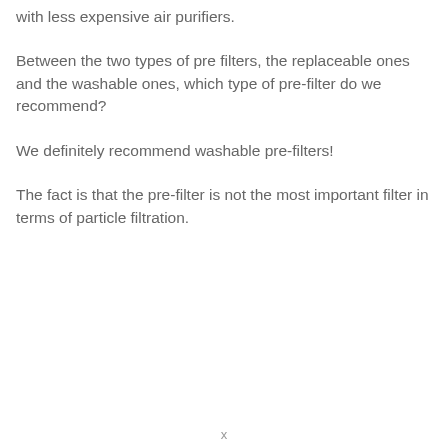with less expensive air purifiers.
Between the two types of pre filters, the replaceable ones and the washable ones, which type of pre-filter do we recommend?
We definitely recommend washable pre-filters!
The fact is that the pre-filter is not the most important filter in terms of particle filtration.
x